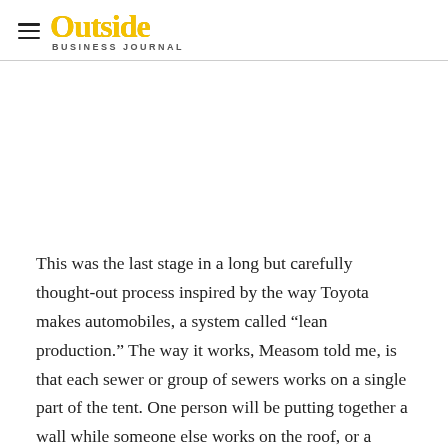Outside Business Journal
This was the last stage in a long but carefully thought-out process inspired by the way Toyota makes automobiles, a system called “lean production.” The way it works, Measom told me, is that each sewer or group of sewers works on a single part of the tent. One person will be putting together a wall while someone else works on the roof, or a window, and yet another person does the floor, and so on.